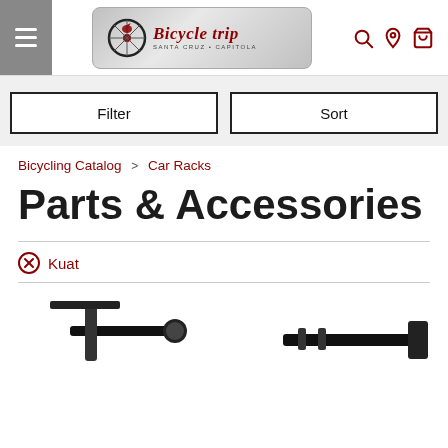Bicycle Trip - Santa Cruz & Capitola
Filter | Sort
Bicycling Catalog > Car Racks
Parts & Accessories
Kuat
[Figure (photo): Product photos of car racks at the bottom of the page]